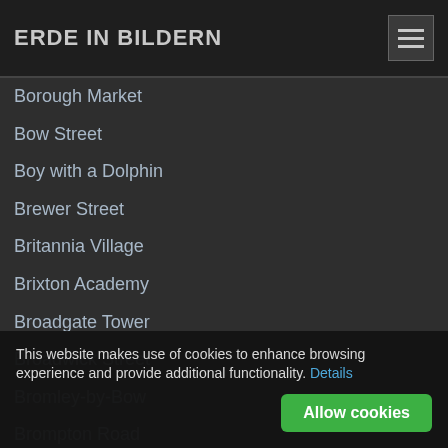ERDE IN BILDERN
Borough Market
Bow Street
Boy with a Dolphin
Brewer Street
Britannia Village
Brixton Academy
Broadgate Tower
Broadwick Street
Bromley-by-Bow
Brompton Road
Brook Mews North
Brook Street
Browning's Pool
This website makes use of cookies to enhance browsing experience and provide additional functionality. Details